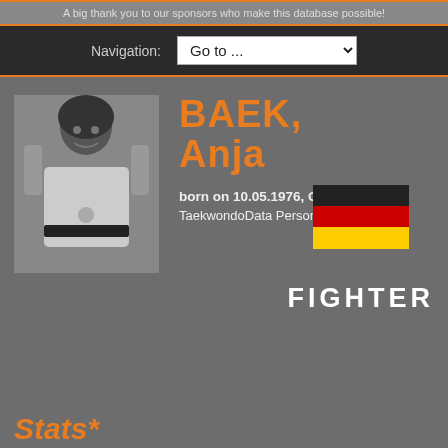A big thank you to our sponsors who make this database possible!
Navigation: Go to ...
[Figure (photo): Black and white photo of Anja Baek in taekwondo uniform with medals and trophies]
BAEK, Anja
born on 10.05.1976, Germany
TaekwondoData Person-ID: 507Z
[Figure (illustration): German flag (black, red, gold horizontal stripes)]
FIGHTER
Stats*